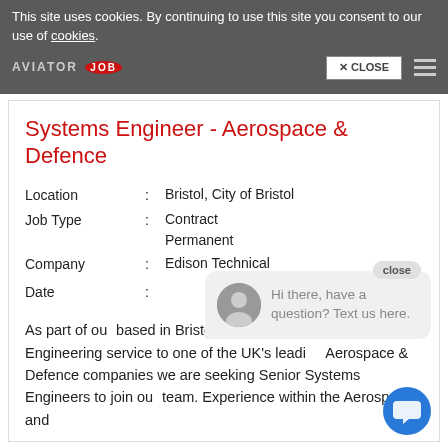This site uses cookies. By continuing to use this site you consent to our use of cookies.
Systems Engineer - Aerospace & Defence
| Location | : | Bristol, City of Bristol |
| Job Type | : | Contract
Permanent |
| Company | : | Edison Technical |
| Date | : |  |
As part of our based in Bristol with us delivering a System Engineering service to one of the UK's leading Aerospace & Defence companies we are seeking Senior Systems Engineers to join our team. Experience within the Aerospace and